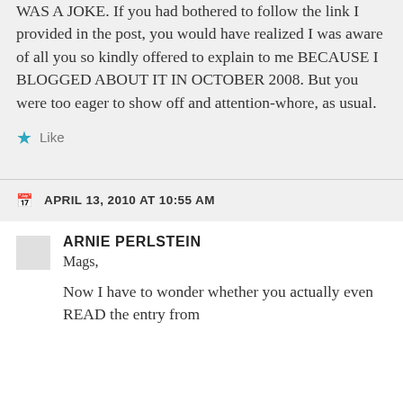WAS A JOKE. If you had bothered to follow the link I provided in the post, you would have realized I was aware of all you so kindly offered to explain to me BECAUSE I BLOGGED ABOUT IT IN OCTOBER 2008. But you were too eager to show off and attention-whore, as usual.
★ Like
APRIL 13, 2010 AT 10:55 AM
ARNIE PERLSTEIN
Mags,
Now I have to wonder whether you actually even READ the entry from